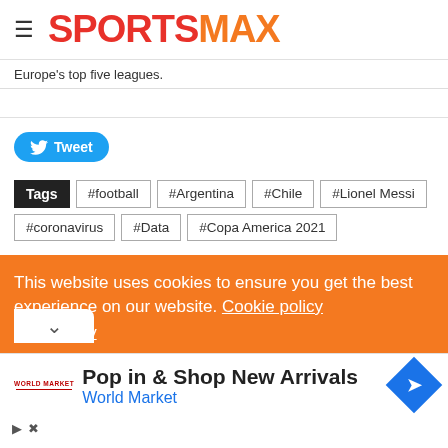SPORTSMAX
Europe's top five leagues.
Tweet
Tags #football #Argentina #Chile #Lionel Messi #coronavirus #Data #Copa America 2021
This website uses cookies to ensure you get the best experience on our website. Cookie policy
acy policy
[Figure (screenshot): Advertisement banner: Pop in & Shop New Arrivals - World Market]